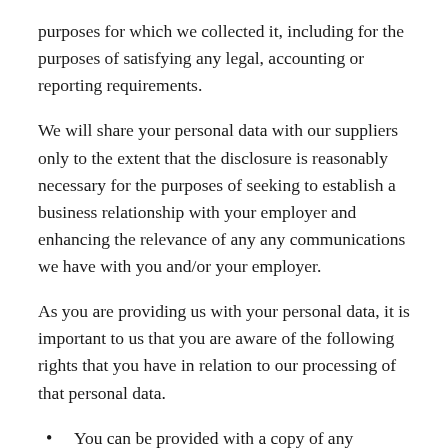purposes for which we collected it, including for the purposes of satisfying any legal, accounting or reporting requirements.
We will share your personal data with our suppliers only to the extent that the disclosure is reasonably necessary for the purposes of seeking to establish a business relationship with your employer and enhancing the relevance of any any communications we have with you and/or your employer.
As you are providing us with your personal data, it is important to us that you are aware of the following rights that you have in relation to our processing of that personal data.
You can be provided with a copy of any personal data concerning you that we process, unless that